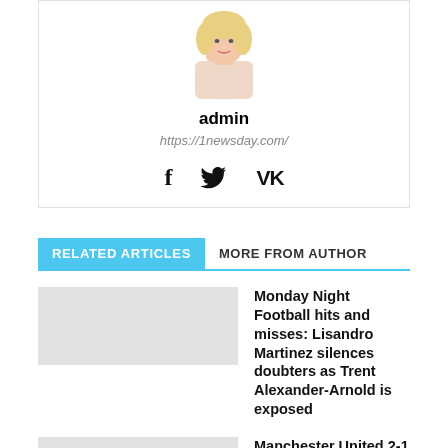[Figure (photo): Profile photo of admin user — a blonde woman posing with hand near chin]
admin
https://1newsday.com/
[Figure (other): Social media icons: Facebook (f), Twitter (bird), VK (VK)]
RELATED ARTICLES   MORE FROM AUTHOR
Monday Night Football hits and misses: Lisandro Martinez silences doubters as Trent Alexander-Arnold is exposed
Manchester United 2-1 Liverpool: Erik ten Hag has his template for success